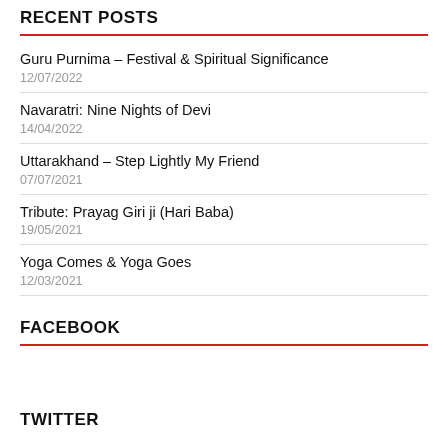RECENT POSTS
Guru Purnima – Festival & Spiritual Significance
12/07/2022
Navaratri: Nine Nights of Devi
14/04/2022
Uttarakhand – Step Lightly My Friend
07/07/2021
Tribute: Prayag Giri ji (Hari Baba)
19/05/2021
Yoga Comes & Yoga Goes
12/03/2021
FACEBOOK
TWITTER